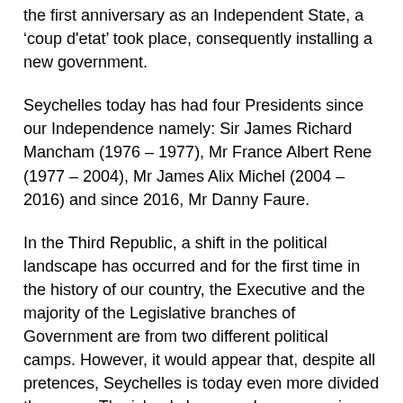the first anniversary as an Independent State, a 'coup d'etat' took place, consequently installing a new government.
Seychelles today has had four Presidents since our Independence namely: Sir James Richard Mancham (1976 – 1977), Mr France Albert Rene (1977 – 2004), Mr James Alix Michel (2004 – 2016) and since 2016, Mr Danny Faure.
In the Third Republic, a shift in the political landscape has occurred and for the first time in the history of our country, the Executive and the majority of the Legislative branches of Government are from two different political camps. However, it would appear that, despite all pretences, Seychelles is today even more divided than ever. The islands have made progress in a lot of areas but a sad practice lingers which shows a lack of respect of citizens' democratic rights, and this is the 'with us or not with us' strategy by politicians. This shows that the word 'democracy' today has been demeaned to mean compulsory